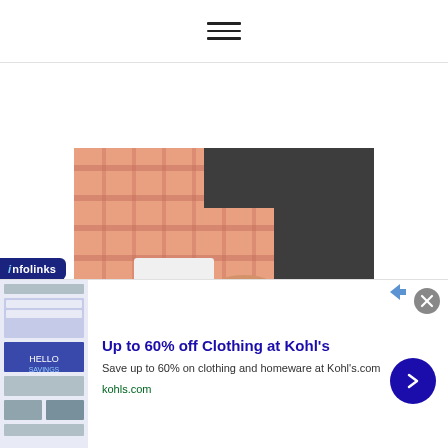[Figure (photo): Person in a pink/peach checkered shirt working at a laptop on a dark desk surface, hands visible on the keyboard]
[Figure (logo): Infolinks badge logo in navy blue]
[Figure (screenshot): Advertisement banner: Up to 60% off Clothing at Kohl's - Save up to 60% on clothing and homeware at Kohl's.com - kohls.com]
Up to 60% off Clothing at Kohl's
Save up to 60% on clothing and homeware at Kohl's.com
kohls.com